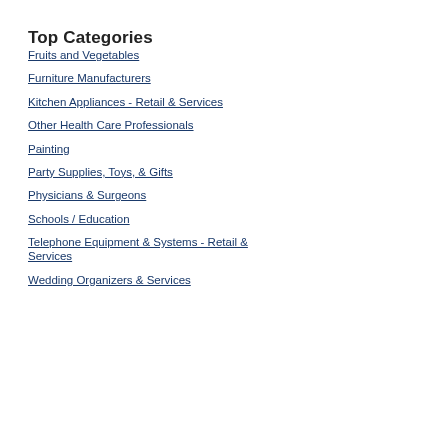Top Categories
Fruits and Vegetables
Furniture Manufacturers
Kitchen Appliances - Retail & Services
Other Health Care Professionals
Painting
Party Supplies, Toys, & Gifts
Physicians & Surgeons
Schools / Education
Telephone Equipment & Systems - Retail & Services
Wedding Organizers & Services